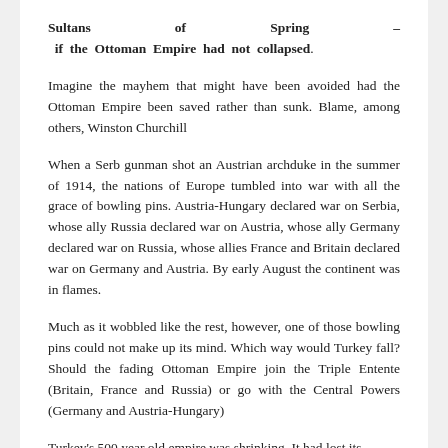Sultans of Spring – if the Ottoman Empire had not collapsed.
Imagine the mayhem that might have been avoided had the Ottoman Empire been saved rather than sunk. Blame, among others, Winston Churchill
When a Serb gunman shot an Austrian archduke in the summer of 1914, the nations of Europe tumbled into war with all the grace of bowling pins. Austria-Hungary declared war on Serbia, whose ally Russia declared war on Austria, whose ally Germany declared war on Russia, whose allies France and Britain declared war on Germany and Austria. By early August the continent was in flames.
Much as it wobbled like the rest, however, one of those bowling pins could not make up its mind. Which way would Turkey fall? Should the fading Ottoman Empire join the Triple Entente (Britain, France and Russia) or go with the Central Powers (Germany and Austria-Hungary)
Turkey's 500 year old empire was shrinking. It had lost its